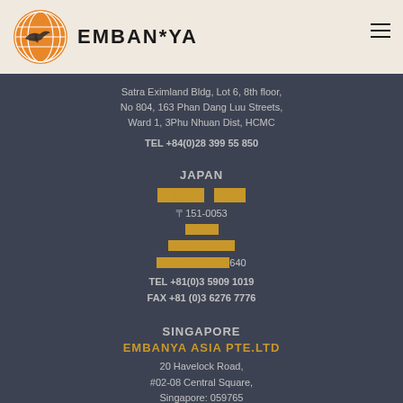[Figure (logo): EMBAN*YA logo with orange globe icon and stylized bird/plane symbol]
Satra Eximland Bldg, Lot 6, 8th floor, No 804, 163 Phan Dang Luu Streets, Ward 1, 3Phu Nhuan Dist, HCMC
TEL +84(0)28 399 55 850
JAPAN
〒151-0053
渋谷区
幡ヶ谷2丁目-1
コスモス幡ヶ谷640
TEL +81(0)3 5909 1019
FAX +81 (0)3 6276 7776
SINGAPORE
EMBANYA ASIA PTE.LTD
20 Havelock Road,
#02-08 Central Square,
Singapore: 059765
TEL +65 31522457